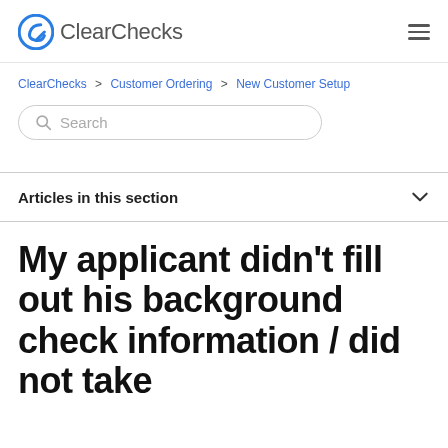ClearChecks
ClearChecks > Customer Ordering > New Customer Setup
Search
Articles in this section
My applicant didn't fill out his background check information / did not take